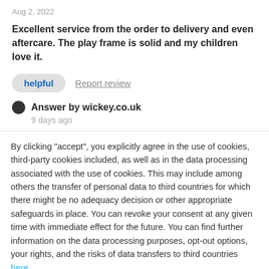Aug 2, 2022
Excellent service from the order to delivery and even aftercare. The play frame is solid and my children love it.
helpful   Report review
Answer by wickey.co.uk
9 days ago
By clicking "accept", you explicitly agree in the use of cookies, third-party cookies included, as well as in the data processing associated with the use of cookies. This may include among others the transfer of personal data to third countries for which there might be no adequacy decision or other appropriate safeguards in place. You can revoke your consent at any given time with immediate effect for the future. You can find further information on the data processing purposes, opt-out options, your rights, and the risks of data transfers to third countries here.
ACCEPT